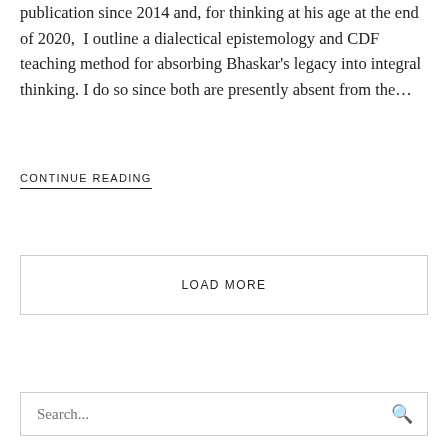publication since 2014 and, for thinking at his age at the end of 2020, I outline a dialectical epistemology and CDF teaching method for absorbing Bhaskar's legacy into integral thinking. I do so since both are presently absent from the...
CONTINUE READING
LOAD MORE
Search...